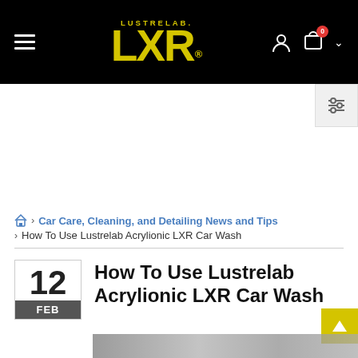LUSTRELAB LXR — Navigation header with logo, hamburger menu, user icon, cart icon with badge 0, dropdown chevron
[Figure (logo): LustreLab LXR logo in yellow on black background]
Car Care, Cleaning, and Detailing News and Tips › How To Use Lustrelab Acrylionic LXR Car Wash
How To Use Lustrelab Acrylionic LXR Car Wash
12 FEB